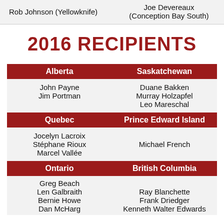Rob Johnson (Yellowknife)
Joe Devereaux (Conception Bay South)
2016 RECIPIENTS
| Alberta | Saskatchewan |
| --- | --- |
| John Payne
Jim Portman | Duane Bakken
Murray Holzapfel
Leo Mareschal |
| Quebec | Prince Edward Island |
| --- | --- |
| Jocelyn Lacroix
Stéphane Rioux
Marcel Vallée | Michael French |
| Ontario | British Columbia |
| --- | --- |
| Greg Beach
Len Galbraith
Bernie Howe
Dan McHarg | Ray Blanchette
Frank Driedger
Kenneth Walter Edwards |